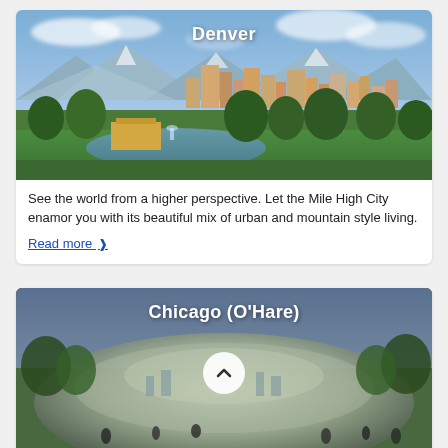[Figure (photo): Denver city skyline with mountains in the background, a park with a lake and fountain in the foreground. White text 'Denver' overlaid at the top.]
See the world from a higher perspective. Let the Mile High City enamor you with its beautiful mix of urban and mountain style living.
Read more ›
[Figure (photo): Chicago Cloud Gate (the Bean) sculpture reflecting surrounding park and people. White text 'Chicago (O'Hare)' overlaid at top, with a white circle chevron-up button in the center.]